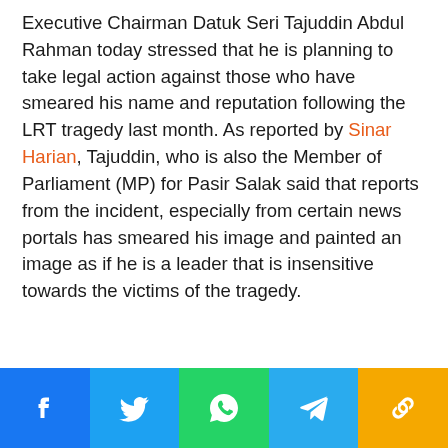Executive Chairman Datuk Seri Tajuddin Abdul Rahman today stressed that he is planning to take legal action against those who have smeared his name and reputation following the LRT tragedy last month. As reported by Sinar Harian, Tajuddin, who is also the Member of Parliament (MP) for Pasir Salak said that reports from the incident, especially from certain news portals has smeared his image and painted an image as if he is a leader that is insensitive towards the victims of the tragedy.
[Figure (infographic): Social media share buttons bar: Facebook (blue), Twitter (light blue), WhatsApp (green), Telegram (blue), Copy link (orange/yellow)]